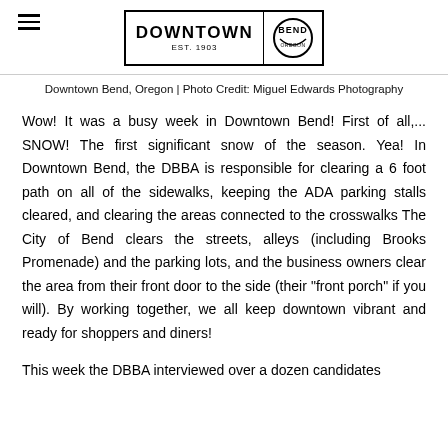Downtown Bend — DOWNTOWN EST. 1903 BEND logo
Downtown Bend, Oregon | Photo Credit: Miguel Edwards Photography
Wow! It was a busy week in Downtown Bend! First of all,... SNOW! The first significant snow of the season. Yea! In Downtown Bend, the DBBA is responsible for clearing a 6 foot path on all of the sidewalks, keeping the ADA parking stalls cleared, and clearing the areas connected to the crosswalks The City of Bend clears the streets, alleys (including Brooks Promenade) and the parking lots, and the business owners clear the area from their front door to the side (their "front porch" if you will). By working together, we all keep downtown vibrant and ready for shoppers and diners!
This week the DBBA interviewed over a dozen candidates